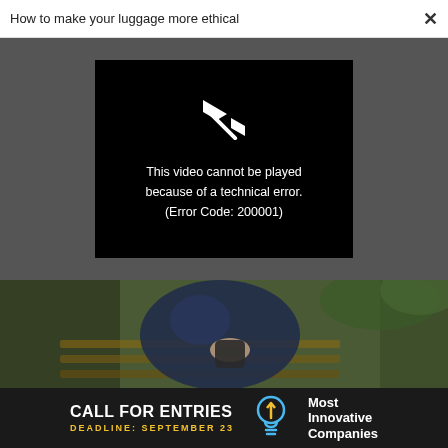How to make your luggage more ethical ×
[Figure (screenshot): Video player error screen on dark grey background. Black rectangle showing broken play icon and text: 'This video cannot be played because of a technical error. (Error Code: 200001)']
[Figure (photo): Person wearing a dark blue patterned dress sitting on a wooden park bench, holding a small bag, green foliage in background]
[Figure (infographic): Advertisement banner: 'CALL FOR ENTRIES DEADLINE: SEPTEMBER 23' with lightbulb icon and 'Most Innovative Companies' text on dark background]